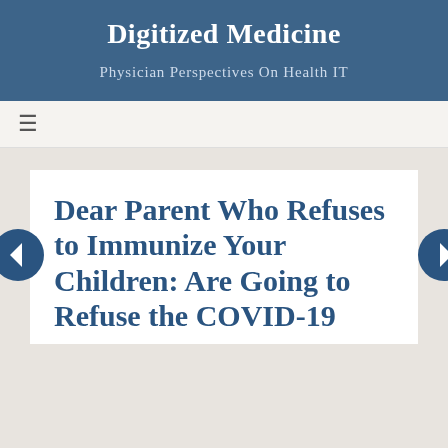Digitized Medicine
Physician Perspectives On Health IT
≡
Dear Parent Who Refuses to Immunize Your Children: Are Going to Refuse the COVID-19